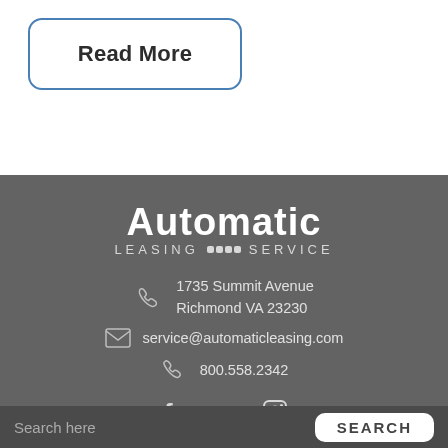Read More
[Figure (logo): Automatic Leasing Service company logo in white text on grey background]
1735 Summit Avenue
Richmond VA 23230
service@automaticleasing.com
800.558.2342
[Figure (infographic): Social media icons: Facebook, LinkedIn, Instagram]
Search here
SEARCH